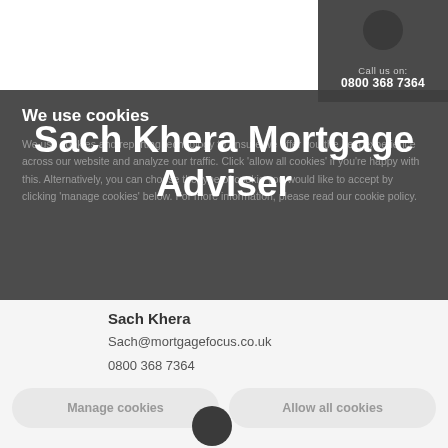Call us on: 0800 368 7364
We use cookies
Sach Khera Mortgage Adviser
We use cookies and reporting technology to ensure we offer you the best experience across our website and analyze our traffic. Click 'allow all cookies' if you're happy with this. Alternatively, you can choose the type of cookie you would like to accept by clicking 'manage cookies' below. For more information, please read our cookie policy.
Sach Khera
Sach@mortgagefocus.co.uk
0800 368 7364
Manage cookies
Allow all cookies